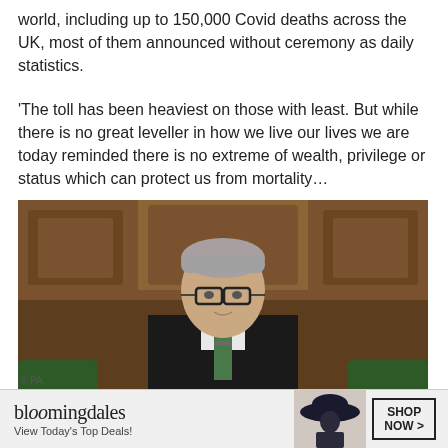world, including up to 150,000 Covid deaths across the UK, most of them announced without ceremony as daily statistics.
'The toll has been heaviest on those with least. But while there is no great leveller in how we live our lives we are today reminded there is no extreme of wealth, privilege or status which can protect us from mortality…
[Figure (photo): Man in dark suit with glasses seated in what appears to be the House of Commons chamber, with ornate wooden carvings in the background and green leather seats visible. A 'CLOSE' button appears in the bottom right corner.]
[Figure (other): Bloomingdales advertisement banner: 'bloomingdales — View Today's Top Deals!' with woman in hat and 'SHOP NOW >' button]